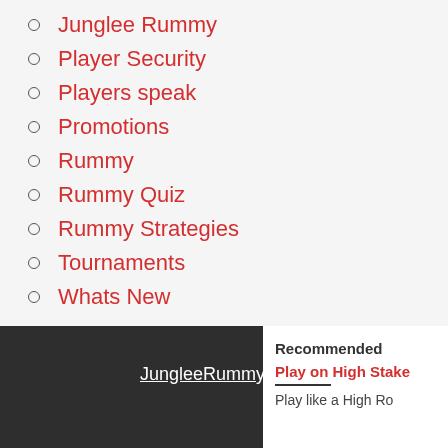Junglee Rummy
Player Security
Players speak
Promotions
Rummy
Rummy Quiz
Rummy Strategies
Tournaments
Whats New
JungleeRummy
Recommended
Play on High Stake
Play like a High Ro